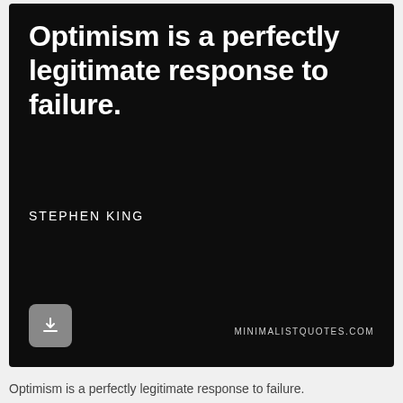[Figure (infographic): Black background motivational quote card with white bold text reading 'Optimism is a perfectly legitimate response to failure.' attributed to STEPHEN KING, with a download button and MINIMALISTQUOTES.COM watermark]
Optimism is a perfectly legitimate response to failure.